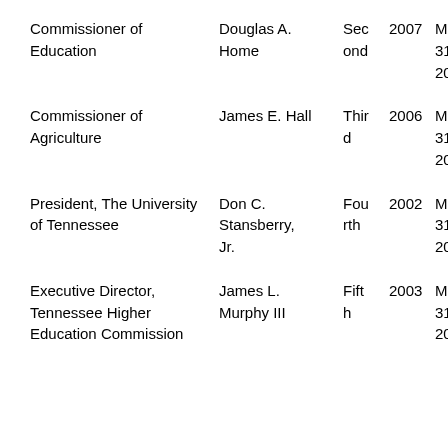| Position | Name | Term | Year | End Date |
| --- | --- | --- | --- | --- |
| Commissioner of Education | Douglas A. Home | Second | 2007 | May 31, 2013 |
| Commissioner of Agriculture | James E. Hall | Third | 2006 | May 31, 2012 |
| President, The University of Tennessee | Don C. Stansberry, Jr. | Fourth | 2002 | May 31, 2014 |
| Executive Director, Tennessee Higher Education Commission | James L. Murphy III | Fifth | 2003 | May 31, 2009 |